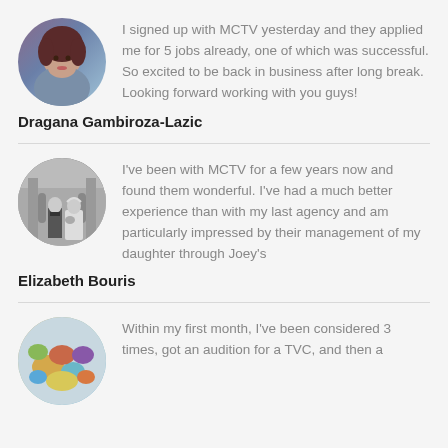[Figure (photo): Circular profile photo of a woman with dark hair, color photo]
I signed up with MCTV yesterday and they applied me for 5 jobs already, one of which was successful. So excited to be back in business after long break. Looking forward working with you guys!
Dragana Gambiroza-Lazic
[Figure (photo): Circular profile photo in black and white, appears to show a wedding scene]
I've been with MCTV for a few years now and found them wonderful. I've had a much better experience than with my last agency and am particularly impressed by their management of my daughter through Joey's
Elizabeth Bouris
[Figure (photo): Circular profile photo showing colorful stones or shells]
Within my first month, I've been considered 3 times, got an audition for a TVC, and then a